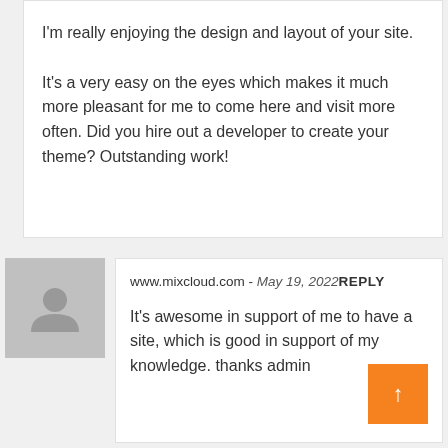I'm really enjoying the design and layout of your site.

It's a very easy on the eyes which makes it much more pleasant for me to come here and visit more often. Did you hire out a developer to create your theme? Outstanding work!
[Figure (illustration): Gray avatar placeholder icon showing a silhouette of a person]
www.mixcloud.com - May 19, 2022 REPLY
It's awesome in support of me to have a site, which is good in support of my knowledge. thanks admin